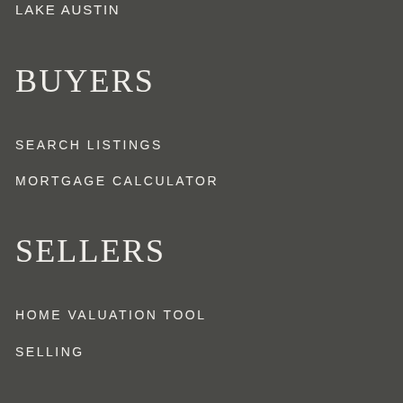LAKE AUSTIN
BUYERS
SEARCH LISTINGS
MORTGAGE CALCULATOR
SELLERS
HOME VALUATION TOOL
SELLING
OUR COMPANY
ABOUT US
READ OUR BLOG